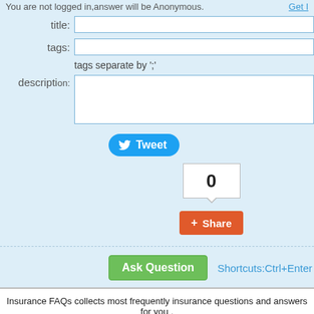You are not logged in,answer will be Anonymous.
title:
tags:
tags separate by ';'
description:
[Figure (screenshot): Tweet button with Twitter bird icon]
[Figure (screenshot): Share count box showing 0 and a red Share button below]
Ask Question   Shortcuts:Ctrl+Enter
Insurance FAQs collects most frequently insurance questions and answers for you . You can ask any questions about insurance,and many experts of insurance will help you to answer it! Copyright © 2003-2012 JustAAA.Com All Rights Reserved. Powered by Answers . User contributions licensed under cc-wiki. Donate